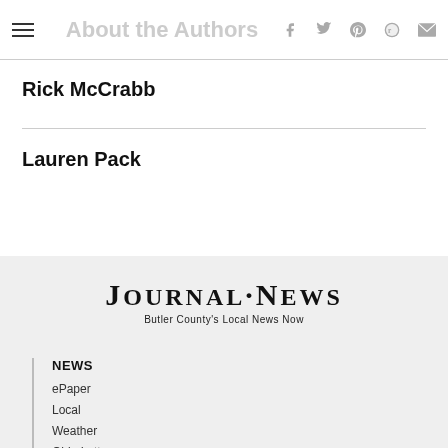About the Authors
Rick McCrabb
Lauren Pack
[Figure (logo): Journal-News logo with tagline 'Butler County's Local News Now']
NEWS
ePaper
Local
Weather
Ohio Lottery
Sign Up for Newsletters